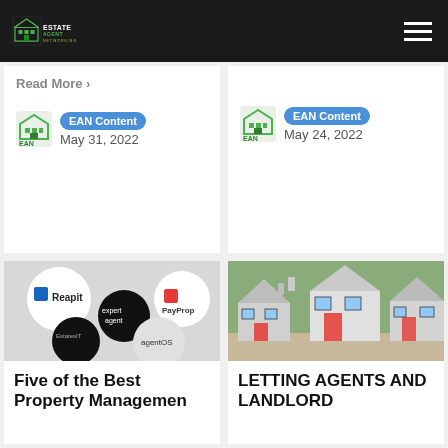Estate Agent Networking
Read More >
EAN Content
May 31, 2022
EAN Content
May 24, 2022
[Figure (photo): Logos of property management software companies: Reapit, PayProp, expertagent, EstatesIT, agentOS]
Five of the Best Property Managemen
[Figure (photo): Miniature white and red house models on a surface]
LETTING AGENTS AND LANDLORD